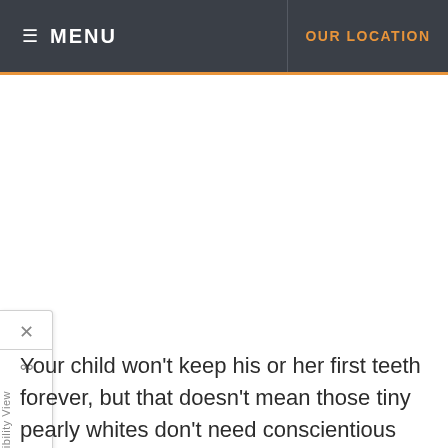MENU   OUR LOCATION
[Figure (screenshot): Accessibility View sidebar widget with close X button and accessibility icon, vertical text label]
Your child won't keep his or her first teeth forever, but that doesn't mean those tiny pearly whites don't need conscientious care. Maintaining your child's dental health now will provide health benefits well into